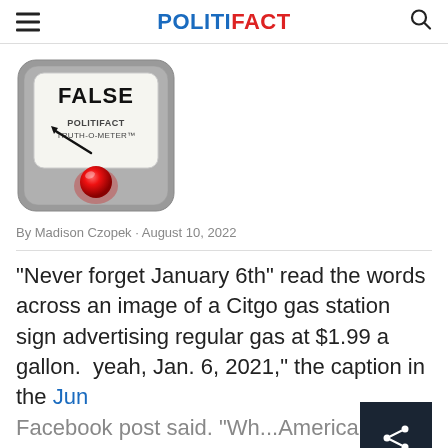POLITIFACT
[Figure (illustration): PolitiFact Truth-O-Meter gauge showing FALSE rating, with a red dome button on gray rounded-square background, needle pointing to FALSE at top left]
By Madison Czopek · August 10, 2022
"Never forget January 6th" read the words across an image of a Citgo gas station sign advertising regular gas at $1.99 a gallon. yeah, Jan. 6, 2021," the caption in the Jun Facebook post said. "Wh...Americans could...